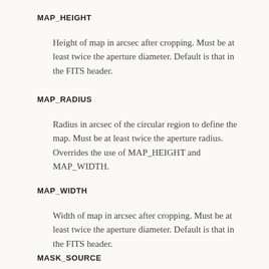MAP_HEIGHT
Height of map in arcsec after cropping. Must be at least twice the aperture diameter. Default is that in the FITS header.
MAP_RADIUS
Radius in arcsec of the circular region to define the map. Must be at least twice the aperture radius. Overrides the use of MAP_HEIGHT and MAP_WIDTH.
MAP_WIDTH
Width of map in arcsec after cropping. Must be at least twice the aperture diameter. Default is that in the FITS header.
MASK_SOURCE